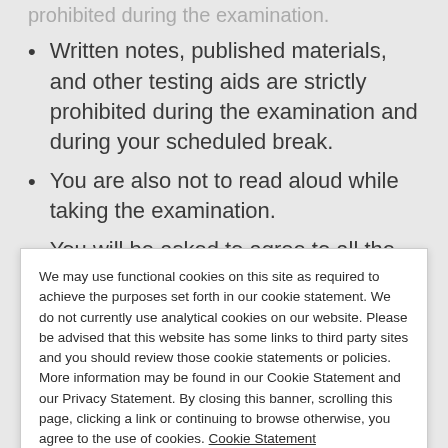Written notes, published materials, and other testing aids are strictly prohibited during the examination and during your scheduled break.
You are also not to read aloud while taking the examination.
You will be asked to agree to all the testing vendor's testing regulations before your LRP examination. Failure to comply with these
We may use functional cookies on this site as required to achieve the purposes set forth in our cookie statement. We do not currently use analytical cookies on our website. Please be advised that this website has some links to third party sites and you should review those cookie statements or policies. More information may be found in our Cookie Statement and our Privacy Statement. By closing this banner, scrolling this page, clicking a link or continuing to browse otherwise, you agree to the use of cookies. Cookie Statement Close